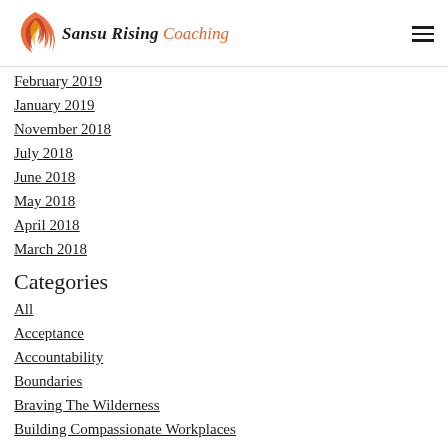Sansu Rising Coaching
February 2019
January 2019
November 2018
July 2018
June 2018
May 2018
April 2018
March 2018
Categories
All
Acceptance
Accountability
Boundaries
Braving The Wilderness
Building Compassionate Workplaces
Bullies